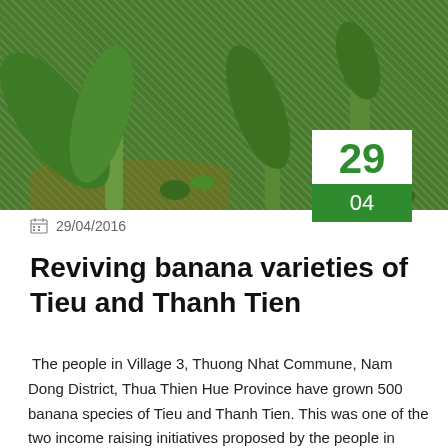[Figure (photo): Photo of banana plants growing in a field with green foliage and brown soil]
29/04/2016
Reviving banana varieties of Tieu and Thanh Tien
The people in Village 3, Thuong Nhat Commune, Nam Dong District, Thua Thien Hue Province have grown 500 banana species of Tieu and Thanh Tien. This was one of the two income raising initiatives proposed by the people in Thuong Nhat within the framework of the project "Enhancing the effectiveness of the New Rural Development [...]